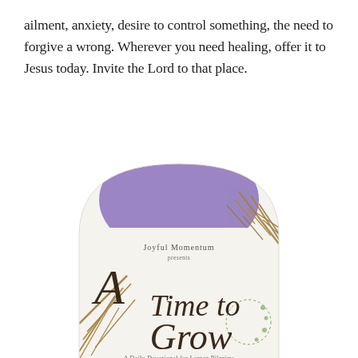ailment, anxiety, desire to control something, the need to forgive a wrong. Wherever you need healing, offer it to Jesus today. Invite the Lord to that place.
[Figure (illustration): Book cover for 'A Time to Grow: A Daily Devotional for Lenten Pilgrims' by Joyful Momentum. The cover has an arch/egg shape with a purple semicircle at the top, and decorative dried grasses/branches. The title is written in elegant calligraphy script in dark brown.]